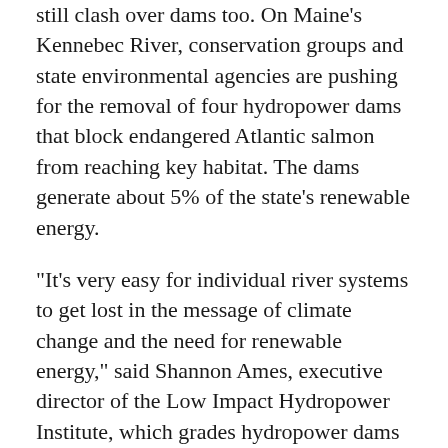still clash over dams too. On Maine's Kennebec River, conservation groups and state environmental agencies are pushing for the removal of four hydropower dams that block endangered Atlantic salmon from reaching key habitat. The dams generate about 5% of the state's renewable energy.
"It's very easy for individual river systems to get lost in the message of climate change and the need for renewable energy," said Shannon Ames, executive director of the Low Impact Hydropower Institute, which grades hydropower dams based on environmental criteria.
With persisting drought affecting hydropower production west of the Mississippi River, the industry has a more direct path to expansion in eastern states.